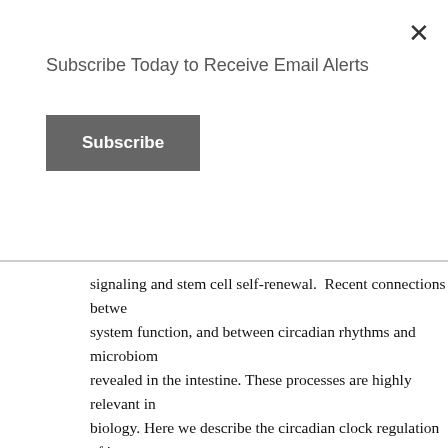Subscribe Today to Receive Email Alerts
signaling and stem cell self-renewal.  Recent connections between system function, and between circadian rhythms and microbiom revealed in the intestine. These processes are highly relevant in biology. Here we describe the circadian clock regulation of intes model organisms: Drosophila melanogaster and mice.  Like all  cells are subject to circadian timing, and both cell-intrinsic and contribute to their function.”
The Eye – Corneal Epithelium
The eye is another organ where issue renewal is understandably regulation.  Sensible, since we are not using our eyes while slee repair and renewal.  The 2018 publication Ocular Clocks: Adap and Health reports; “Vision is a highly rhythmic function adapt